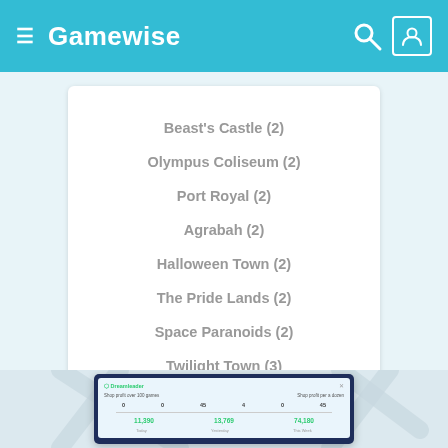Gamewise
Beast's Castle (2)
Olympus Coliseum (2)
Port Royal (2)
Agrabah (2)
Halloween Town (2)
The Pride Lands (2)
Space Paranoids (2)
Twilight Town (3)
The World That Never Was
[Figure (screenshot): Screenshot of a web analytics or stats dashboard with green numbers showing visit counts (11,390 Today; 13,769 Yesterday; 74,180 This Week).]